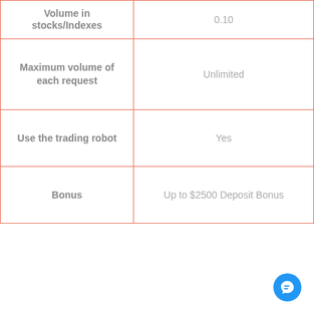|  |  |
| --- | --- |
| Volume in stocks/Indexes | 0.10 |
| Maximum volume of each request | Unlimited |
| Use the trading robot | Yes |
| Bonus | Up to $2500 Deposit Bonus |